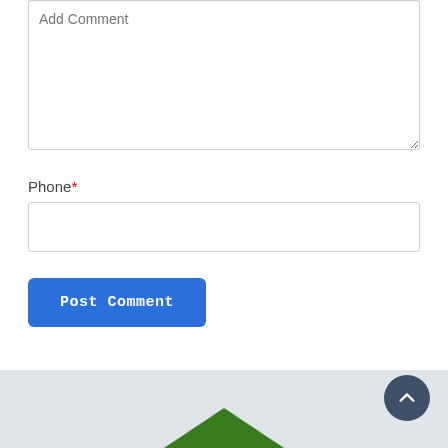Add Comment
Phone*
Post Comment
[Figure (screenshot): Scroll to top circular button with upward chevron arrow, dark navy background]